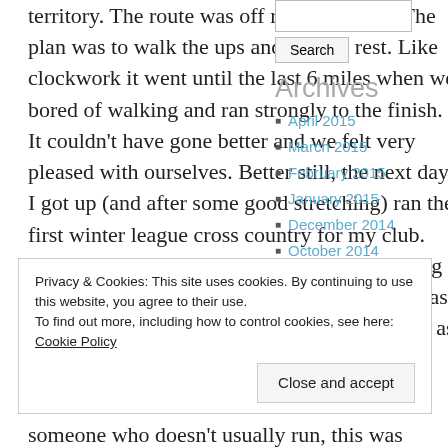territory. The route was off road and hilly. The plan was to walk the ups and run the rest. Like clockwork it went until the last 6 miles when we bored of walking and ran strongly to the finish. It couldn't have gone better and we felt very pleased with ourselves. Better still, the next day I got up (and after some good stretching) ran the first winter league cross country for my club. Only 4 miles but the legs worked well carrying me through the mud and up the hills well. I was slow down hill but that was partly in my head as I feared my legs would give way!
Archives
April 2015
March 2015
February 2015
January 2015
December 2014
October 2014
September 2014
July 2014
Privacy & Cookies: This site uses cookies. By continuing to use this website, you agree to their use. To find out more, including how to control cookies, see here: Cookie Policy
someone who doesn't usually run, this was